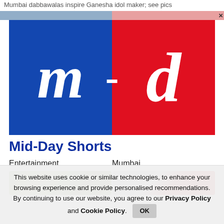Mumbai dabbawalas inspire Ganesha idol maker; see pics
[Figure (logo): Mid-Day newspaper logo: blue left half with white italic 'm', red right half with white italic 'd', separated by a dash]
Mid-Day Shorts
Entertainment
Mumbai
[Figure (photo): Two partially visible thumbnail images - left shows green/nature scene, right shows a partially visible red circular element]
This website uses cookie or similar technologies, to enhance your browsing experience and provide personalised recommendations. By continuing to use our website, you agree to our Privacy Policy and Cookie Policy.